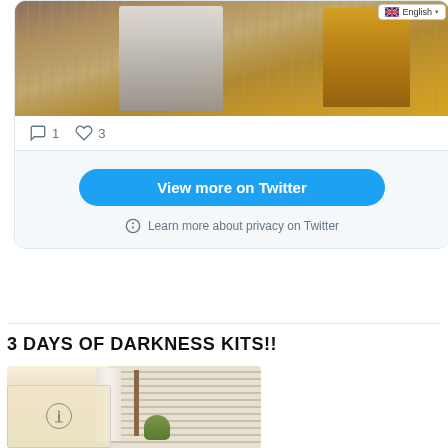[Figure (screenshot): Twitter/X embedded card showing two robed figures (one in white/gray, one in yellow) in a decorative setting, with English language selector badge, comment count 1 and like count 3, a 'View more on Twitter' blue button, and a 'Learn more about privacy on Twitter' link with info icon]
3 DAYS OF DARKNESS KITS!!
[Figure (photo): Photo of a candle kit with a tall white candle, a thin taper candle, and a small green plant/herb sprig, with horizontal blinds visible in the background]